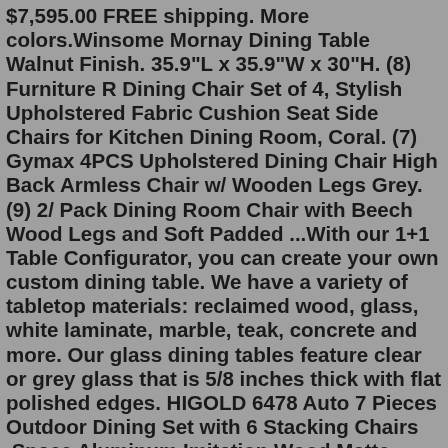$7,595.00 FREE shipping. More colors.Winsome Mornay Dining Table Walnut Finish. 35.9"L x 35.9"W x 30"H. (8) Furniture R Dining Chair Set of 4, Stylish Upholstered Fabric Cushion Seat Side Chairs for Kitchen Dining Room, Coral. (7) Gymax 4PCS Upholstered Dining Chair High Back Armless Chair w/ Wooden Legs Grey. (9) 2/ Pack Dining Room Chair with Beech Wood Legs and Soft Padded ...With our 1+1 Table Configurator, you can create your own custom dining table. We have a variety of tabletop materials: reclaimed wood, glass, white laminate, marble, teak, concrete and more. Our glass dining tables feature clear or grey glass that is 5/8 inches thick with flat polished edges. HIGOLD 6478 Auto 7 Pieces Outdoor Dining Set with 6 Stacking Chairs ,Space Aluminum Imitation Wood Matte Black. Details. Free Shipping. 323. Top Rated. $1,279.99. 4. EROMMY 7 Pieces Patio Dining Set Metal Outdoor with Swivel Chairs. Details.Shop for Dining Tables in Kitchen & Dining Furniture. Buy products such as Better Homes and Gardens Autumn Lane Farmhouse